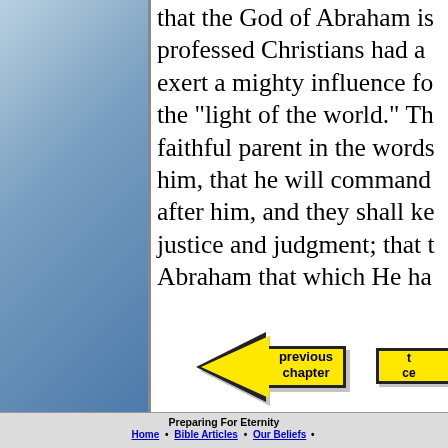that the God of Abraham is professed Christians had a exert a mighty influence fo the "light of the world." Th faithful parent in the words him, that he will command after him, and they shall ke justice and judgment; that t Abraham that which He ha
[Figure (illustration): Yellow left-pointing arrow button labeled 'previous chapter' with black border and drop shadow]
[Figure (illustration): Partially visible yellow right-pointing arrow button labeled 'to ce...' (next chapter) with black border]
Preparing For Eternity
Home • Bible Articles • Our Beliefs •